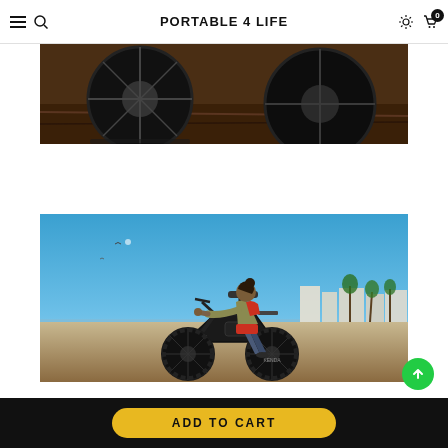PORTABLE 4 LIFE
[Figure (photo): Close-up of electric bike wheels on a wooden/rock surface, dark tones]
[Figure (photo): Person riding a fat-tire electric bike along a beachside promenade with blue sky and buildings in background]
ADD TO CART